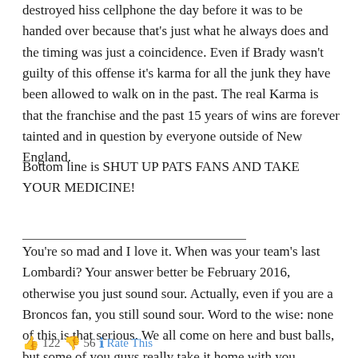destroyed hiss cellphone the day before it was to be handed over because that's just what he always does and the timing was just a coincidence. Even if Brady wasn't guilty of this offense it's karma for all the junk they have been allowed to walk on in the past. The real Karma is that the franchise and the past 15 years of wins are forever tainted and in question by everyone outside of New England.
Bottom line is SHUT UP PATS FANS AND TAKE YOUR MEDICINE!
You're so mad and I love it. When was your team's last Lombardi? Your answer better be February 2016, otherwise you just sound sour. Actually, even if you are a Broncos fan, you still sound sour. Word to the wise: none of this is that serious. We all come on here and bust balls, but some of you guys really take it home with you. Lighten up, Francis.
👍 122 👎 56 ℹ Rate This